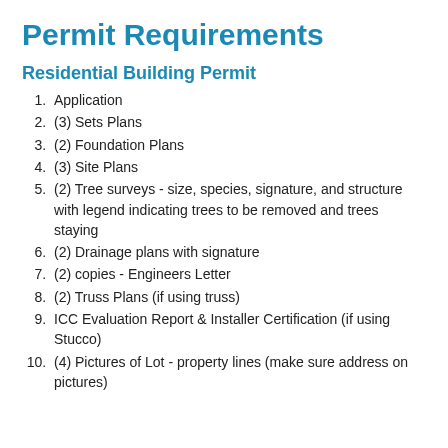Permit Requirements
Residential Building Permit
Application
(3) Sets Plans
(2) Foundation Plans
(3) Site Plans
(2) Tree surveys - size, species, signature, and structure with legend indicating trees to be removed and trees staying
(2) Drainage plans with signature
(2) copies - Engineers Letter
(2) Truss Plans (if using truss)
ICC Evaluation Report & Installer Certification (if using Stucco)
(4) Pictures of Lot - property lines (make sure address on pictures)